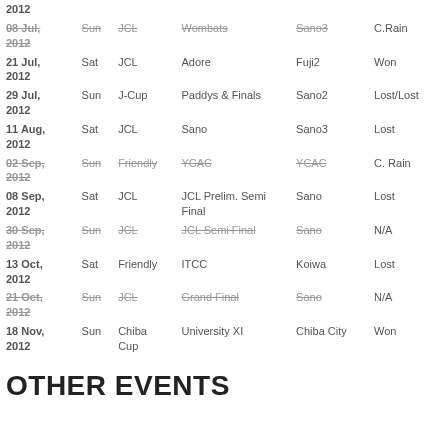| Date | Day | Comp | Opponent | Venue | Result |
| --- | --- | --- | --- | --- | --- |
| 2012 |  |  |  |  |  |
| 08 Jul, 2012 | Sun | JCL | Wombats | Sano3 | C.Rain |
| 21 Jul, 2012 | Sat | JCL | Adore | Fuji2 | Won |
| 29 Jul, 2012 | Sun | J-Cup | Paddys & Finals | Sano2 | Lost/Lost |
| 11 Aug, 2012 | Sat | JCL | Sano | Sano3 | Lost |
| 02 Sep, 2012 | Sun | Friendly | YCAC | YCAC | C. Rain |
| 08 Sep, 2012 | Sat | JCL | JCL Prelim. Semi Final | Sano | Lost |
| 30 Sep, 2012 | Sun | JCL | JCL Semi Final | Sano | N/A |
| 13 Oct, 2012 | Sat | Friendly | ITCC | Koiwa | Lost |
| 21 Oct, 2012 | Sun | JCL | Grand Final | Sano | N/A |
| 18 Nov, 2012 | Sun | Chiba Cup | University XI | Chiba City | Won |
OTHER EVENTS